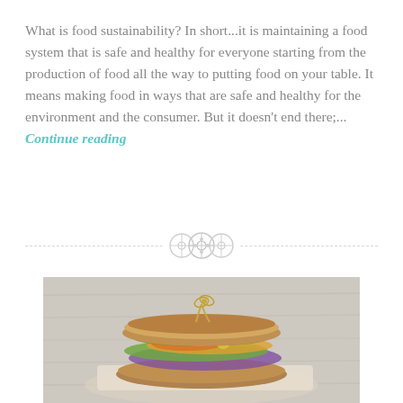What is food sustainability? In short...it is maintaining a food system that is safe and healthy for everyone starting from the production of food all the way to putting food on your table. It means making food in ways that are safe and healthy for the environment and the consumer. But it doesn't end there;... Continue reading
[Figure (photo): A photograph of a sandwich with colorful vegetable fillings including purple cabbage, greens, and yellow/orange vegetables, served on rustic wooden board with paper wrapping, against a light wooden background.]